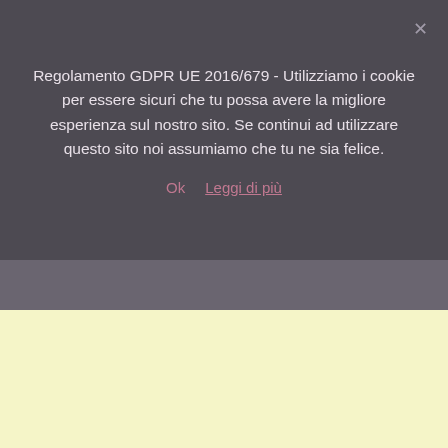Regolamento GDPR UE 2016/679 - Utilizziamo i cookie per essere sicuri che tu possa avere la migliore esperienza sul nostro sito. Se continui ad utilizzare questo sito noi assumiamo che tu ne sia felice.
Ok   Leggi di più